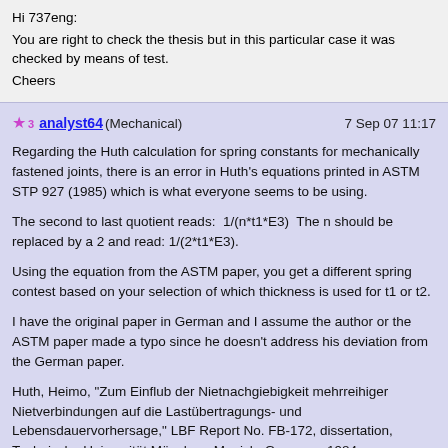Hi 737eng:
You are right to check the thesis but in this particular case it was checked by means of test.
Cheers
analyst64 (Mechanical)  7 Sep 07 11:17

Regarding the Huth calculation for spring constants for mechanically fastened joints, there is an error in Huth's equations printed in ASTM STP 927 (1985) which is what everyone seems to be using.

The second to last quotient reads:  1/(n*t1*E3)  The n should be replaced by a 2 and read: 1/(2*t1*E3).

Using the equation from the ASTM paper, you get a different spring contest based on your selection of which thickness is used for t1 or t2.

I have the original paper in German and I assume the author or the ASTM paper made a typo since he doesn't address his deviation from the German paper.

Huth, Heimo, "Zum Einflub der Nietnachgiebigkeit mehrreihiger Nietverbindungen auf die Lastübertragungs- und Lebensdauervorhersage," LBF Report No. FB-172, dissertation, Technische Universität München, Munich, Germany, 1984.

Correct equation is...
C=((t1 + t2)/2d)^a    x   (b/n)  [ 1 /(t1  E1)  + 1 /(n t2 E2)  +  1 /(2 t1 E3) +